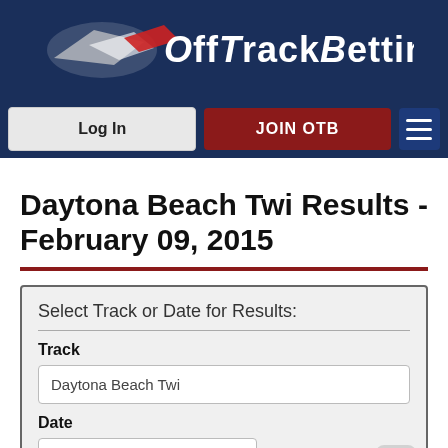OffTrackBetting
[Figure (logo): OffTrackBetting logo with racing dog/arrow graphic and white text on dark blue background]
[Figure (screenshot): Navigation bar with Log In button, JOIN OTB button in dark red, and hamburger menu icon]
Daytona Beach Twi Results - February 09, 2015
Select Track or Date for Results:
Track
Daytona Beach Twi
Date
February 09, 2015